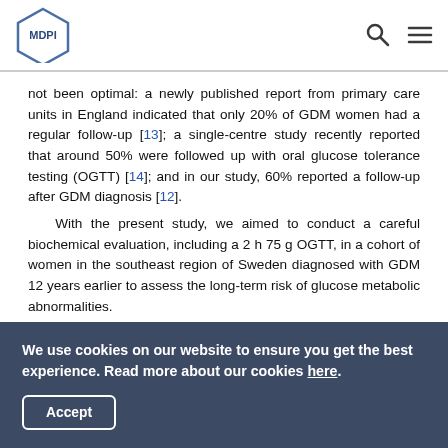MDPI
not been optimal: a newly published report from primary care units in England indicated that only 20% of GDM women had a regular follow-up [13]; a single-centre study recently reported that around 50% were followed up with oral glucose tolerance testing (OGTT) [14]; and in our study, 60% reported a follow-up after GDM diagnosis [12]. With the present study, we aimed to conduct a careful biochemical evaluation, including a 2 h 75 g OGTT, in a cohort of women in the southeast region of Sweden diagnosed with GDM 12 years earlier to assess the long-term risk of glucose metabolic abnormalities.
We use cookies on our website to ensure you get the best experience. Read more about our cookies here. Accept